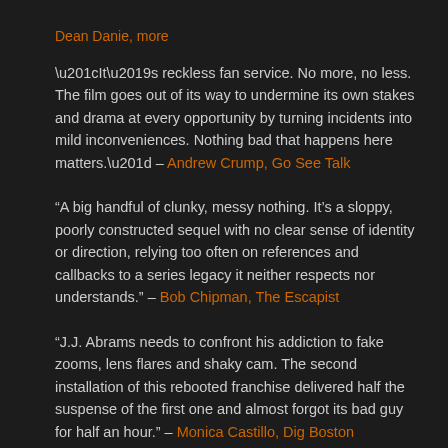Dean Danie, more
“It’s reckless fan service. No more, no less. The film goes out of its way to undermine its own stakes and drama at every opportunity by turning incidents into mild inconveniences. Nothing bad that happens here matters.” – Andrew Crump, Go See Talk
“A big handful of clunky, messy nothing. It’s a sloppy, poorly constructed sequel with no clear sense of identity or direction, relying too often on references and callbacks to a series legacy it neither respects nor understands.” – Bob Chipman, The Escapist
“J.J. Abrams needs to confront his addiction to fake zooms, lens flares and shaky cam. The second installation of this rebooted franchise delivered half the suspense of the first one and almost forgot its bad guy for half an hour.” – Monica Castillo, Dig Boston